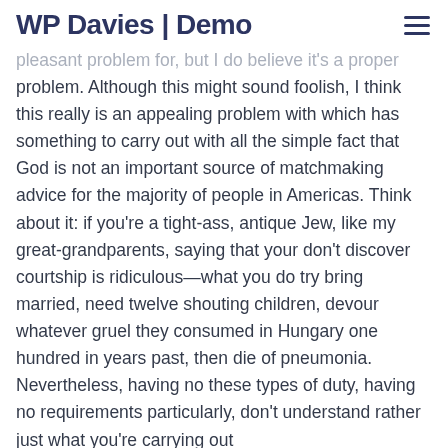WP Davies | Demo
pleasant problem for, but I do believe it's a proper problem. Although this might sound foolish, I think this really is an appealing problem with which has something to carry out with all the simple fact that God is not an important source of matchmaking advice for the majority of people in Americas. Think about it: if you're a tight-ass, antique Jew, like my great-grandparents, saying that your don't discover courtship is ridiculous—what you do try bring married, need twelve shouting children, devour whatever gruel they consumed in Hungary one hundred in years past, then die of pneumonia. Nevertheless, having no these types of duty, having no requirements particularly, don't understand rather just what you're carrying out